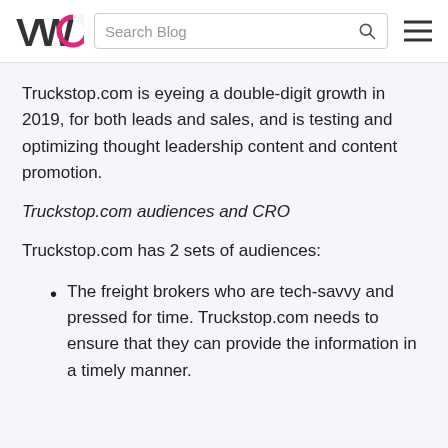VWO | Search Blog
Truckstop.com is eyeing a double-digit growth in 2019, for both leads and sales, and is testing and optimizing thought leadership content and content promotion.
Truckstop.com audiences and CRO
Truckstop.com has 2 sets of audiences:
The freight brokers who are tech-savvy and pressed for time. Truckstop.com needs to ensure that they can provide the information in a timely manner.